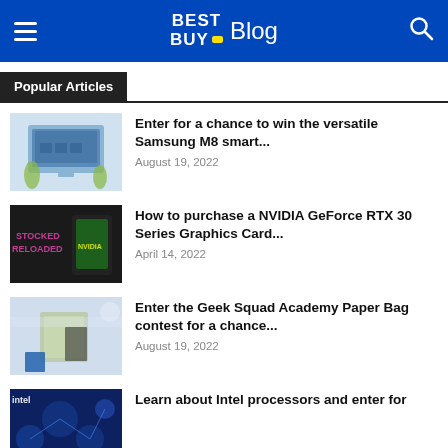BEST BUY Blog
Popular Articles
[Figure (photo): Samsung M8 smart monitor on a desk with plants]
Enter for a chance to win the versatile Samsung M8 smart...
August 19, 2022
[Figure (photo): NVIDIA GeForce RTX 30 Series - STOCKED RELOADED sign]
How to purchase a NVIDIA GeForce RTX 30 Series Graphics Card...
April 14, 2022
[Figure (photo): Geek Squad Academy Paper Bag contest - store interior]
Enter the Geek Squad Academy Paper Bag contest for a chance...
August 19, 2022
[Figure (photo): Intel processors background - blue circuit board]
Learn about Intel processors and enter for